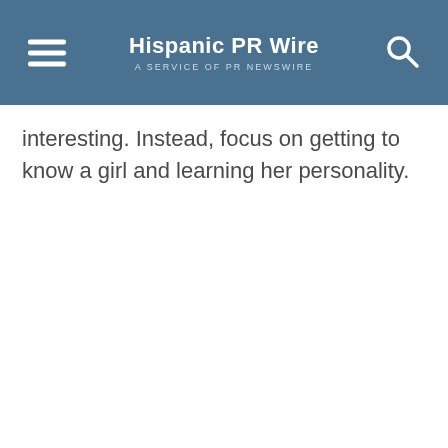Hispanic PR Wire — A SERVICE OF PR NEWSWIRE
interesting. Instead, focus on getting to know a girl and learning her personality.